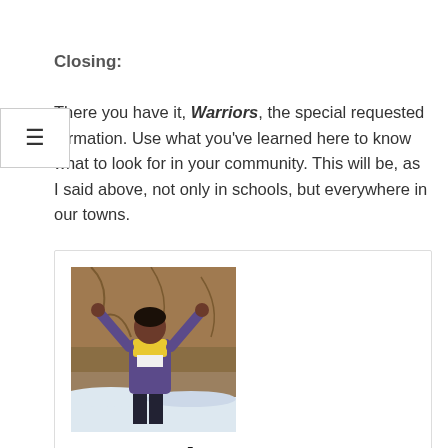Closing:
There you have it, Warriors, the special requested formation. Use what you've learned here to know what to look for in your community. This will be, as I said above, not only in schools, but everywhere in our towns.
[Figure (photo): Author photo of Lynne Taylor standing outdoors with arms raised, wearing a yellow scarf and purple jacket, with rocky terrain and snow in the background.]
Lynne Taylor
See author's posts